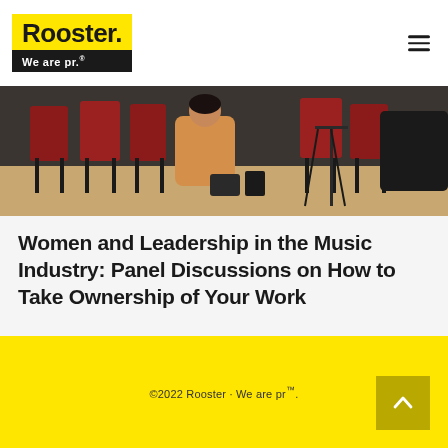[Figure (logo): Rooster PR logo — yellow background with 'Rooster.' in bold black, black bar below with 'We are pr.' in white]
[Figure (photo): Photo showing people seated in red chairs at an event or panel discussion, viewed from behind/side angle with a wooden floor visible]
Women and Leadership in the Music Industry: Panel Discussions on How to Take Ownership of Your Work
©2022 Rooster · We are pr™.